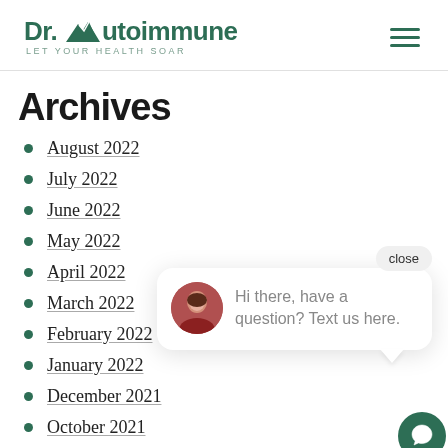Dr. Autoimmune — LET YOUR HEALTH SOAR
Archives
August 2022
July 2022
June 2022
May 2022
April 2022
March 2022
February 2022
January 2022
December 2021
October 2021
[Figure (screenshot): Chat popup overlay with close button, avatar photo of a woman, and text 'Hi there, have a question? Text us here.' with a teal chat icon button in the bottom right corner.]